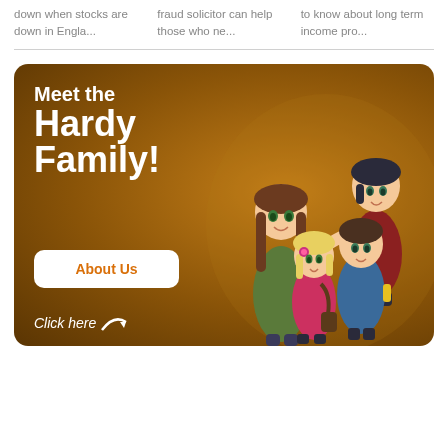down when stocks are down in Engla...
fraud solicitor can help those who ne...
to know about long term income pro...
[Figure (illustration): Advertisement banner with brown/orange background featuring cartoon family of four and text 'Meet the Hardy Family!' with an 'About Us' button and 'Click here' call to action arrow.]